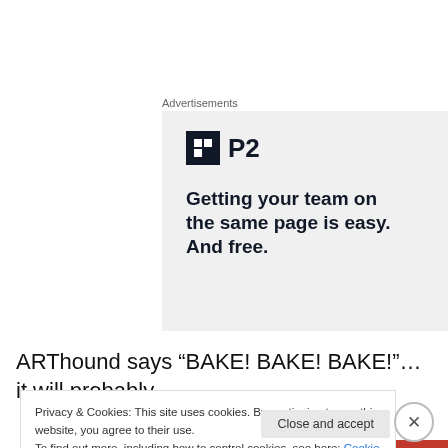Advertisements
[Figure (logo): P2 logo advertisement with tagline: Getting your team on the same page is easy. And free.]
ARThound says “BAKE! BAKE! BAKE!”…it will probably
Privacy & Cookies: This site uses cookies. By continuing to use this website, you agree to their use.
To find out more, including how to control cookies, see here: Cookie Policy
Close and accept